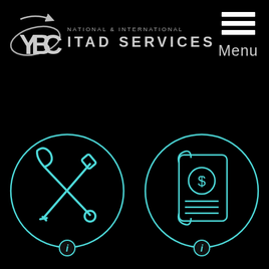[Figure (logo): YBC logo: stylized letters with orbital ring graphic in silver/grey]
NATIONAL & INTERNATIONAL ITAD SERVICES
[Figure (infographic): Hamburger menu icon (three white horizontal bars) with 'Menu' label below]
[Figure (illustration): Cyan neon-style icon of crossed wrench and screwdriver inside a circle, on black background]
[Figure (illustration): Cyan neon-style icon of a scroll/document with a dollar coin, inside an oval, on black background]